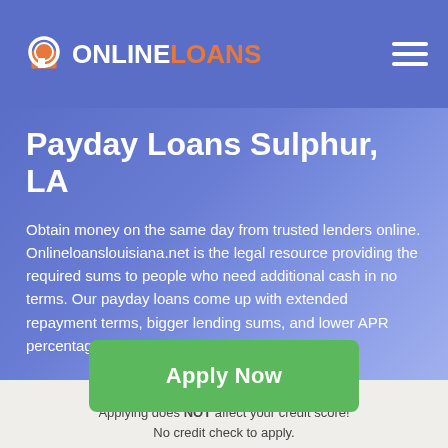ONLINELOANS
Payday Loans Sulphur, LA
Obtain money on the same day from trusted lenders online. Onlineloanslouisiana.net is the legal resource providing the required sums to people who need additional cash in no terms. Our payday loans come up with extended repayment terms, bigger lending sums, and lower APR percentage rate.
Apply Now
Applying does NOT affect your credit score!
No credit check to apply.